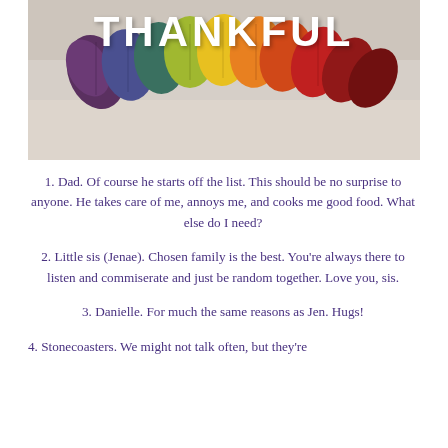[Figure (photo): Colorful autumn leaves arranged in a heart-like arc with the word THANKFUL displayed in large white bold text over a beige/gray background.]
1. Dad. Of course he starts off the list. This should be no surprise to anyone. He takes care of me, annoys me, and cooks me good food. What else do I need?
2. Little sis (Jenae). Chosen family is the best. You're always there to listen and commiserate and just be random together. Love you, sis.
3. Danielle. For much the same reasons as Jen. Hugs!
4. Stonecoasters. We might not talk often, but they're